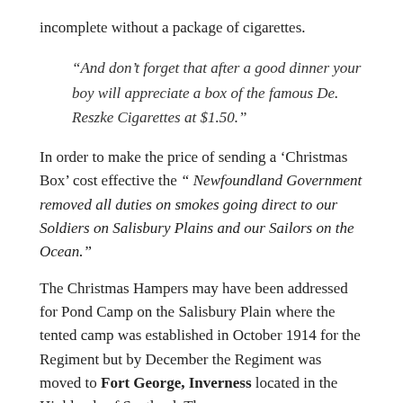incomplete without a package of cigarettes.
“And don’t forget that after a good dinner your boy will appreciate a box of the famous De. Reszke Cigarettes at $1.50.”
In order to make the price of sending a ‘Christmas Box’ cost effective the “ Newfoundland Government removed all duties on smokes going direct to our Soldiers on Salisbury Plains and our Sailors on the Ocean.”
The Christmas Hampers may have been addressed for Pond Camp on the Salisbury Plain where the tented camp was established in October 1914 for the Regiment but by December the Regiment was moved to Fort George, Inverness located in the Highlands of Scotland. The